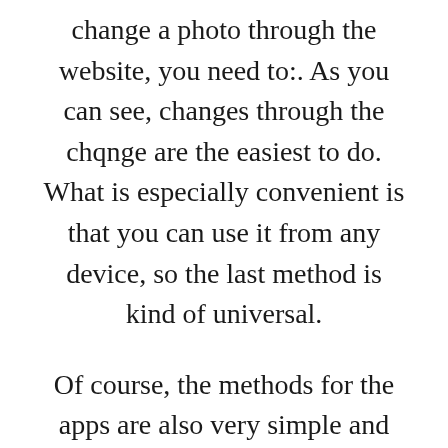change a photo through the website, you need to:. As you can see, changes through the chqnge are the easiest to do. What is especially convenient is that you can use it from any device, so the last method is kind of universal.
Of course, the methods for the apps are also very simple and can easily be done by anyone who reads how to do it. Save my name, email, and website in this browser for the next time I comment.